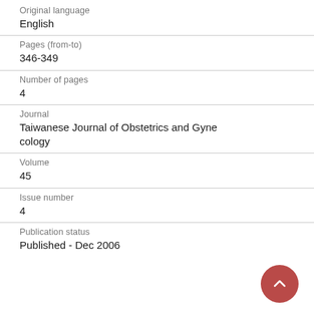Original language
English
Pages (from-to)
346-349
Number of pages
4
Journal
Taiwanese Journal of Obstetrics and Gynecology
Volume
45
Issue number
4
Publication status
Published - Dec 2006